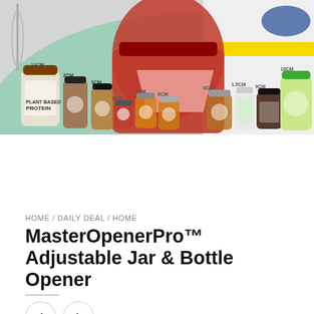[Figure (photo): Product photo showing MasterOpenerPro adjustable jar and bottle opener with various jars and bottles of different sizes labeled 2CM, 3CM, 5CM, 6CM, 7CM, 8CM, 1.5CM, 9CM, 10CM, 11CM on a light green background, with a large jar of red sauce and other condiment jars]
HOME / DAILY DEAL / HOME
MasterOpenerPro™ Adjustable Jar & Bottle Opener